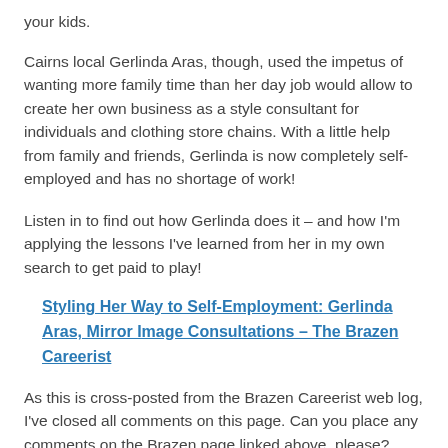your kids.
Cairns local Gerlinda Aras, though, used the impetus of wanting more family time than her day job would allow to create her own business as a style consultant for individuals and clothing store chains. With a little help from family and friends, Gerlinda is now completely self-employed and has no shortage of work!
Listen in to find out how Gerlinda does it – and how I'm applying the lessons I've learned from her in my own search to get paid to play!
Styling Her Way to Self-Employment: Gerlinda Aras, Mirror Image Consultations – The Brazen Careerist
As this is cross-posted from the Brazen Careerist web log, I've closed all comments on this page. Can you place any comments on the Brazen page linked above, please?